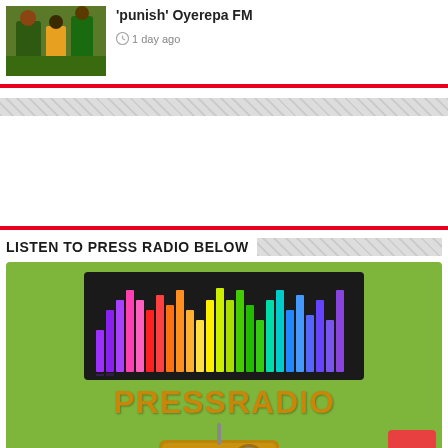[Figure (photo): Thumbnail photo of people in colorful traditional attire]
'punish' Oyerepa FM
1 day ago
LISTEN TO PRESS RADIO BELOW
[Figure (illustration): Press Radio promotional image with green background, colorful equalizer bars on dark background, PRESSRADIO text in orange, and a vintage radio with microphone illustration]